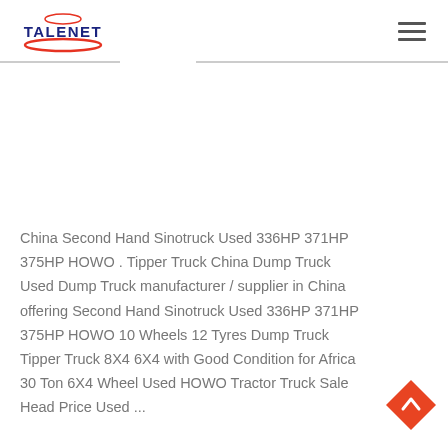TALENET
China Second Hand Sinotruck Used 336HP 371HP 375HP HOWO . Tipper Truck China Dump Truck Used Dump Truck manufacturer / supplier in China offering Second Hand Sinotruck Used 336HP 371HP 375HP HOWO 10 Wheels 12 Tyres Dump Truck Tipper Truck 8X4 6X4 with Good Condition for Africa 30 Ton 6X4 Wheel Used HOWO Tractor Truck Sale Head Price Used ...